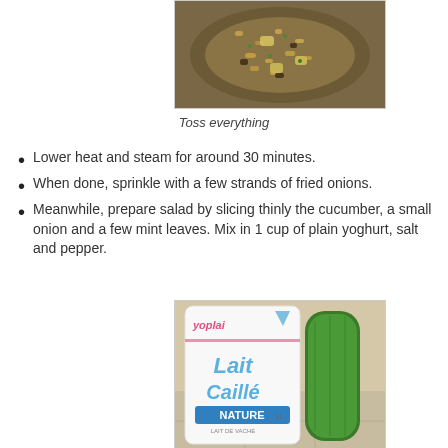[Figure (photo): A bowl of tossed fried rice with vegetables and meat]
Toss everything
Lower heat and steam for around 30 minutes.
When done, sprinkle with a few strands of fried onions.
Meanwhile, prepare salad by slicing thinly the cucumber, a small onion and a few mint leaves. Mix in 1 cup of plain yoghurt, salt and pepper.
[Figure (photo): Yoplait Lait Caillé Nature yoghurt container next to cucumbers]